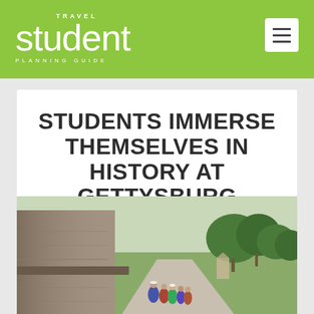TRAVEL student PLANNING GUIDE
STUDENTS IMMERSE THEMSELVES IN HISTORY AT GETTYSBURG
History & Education, Mid-Atlantic
[Figure (photo): Outdoor photo at Gettysburg battlefield showing a group of students walking along a path between historic structures and open fields with trees in the background]